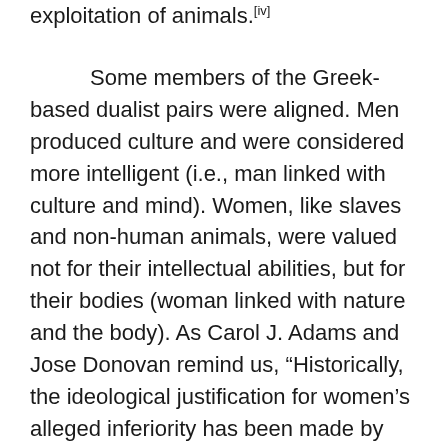exploitation of animals.[iv]
Some members of the Greek-based dualist pairs were aligned. Men produced culture and were considered more intelligent (i.e., man linked with culture and mind). Women, like slaves and non-human animals, were valued not for their intellectual abilities, but for their bodies (woman linked with nature and the body). As Carol J. Adams and Jose Donovan remind us, “Historically, the ideological justification for women’s alleged inferiority has been made by appropriating them to animals: from Aristotle on, women’s bodies have been seen to intrude upon their